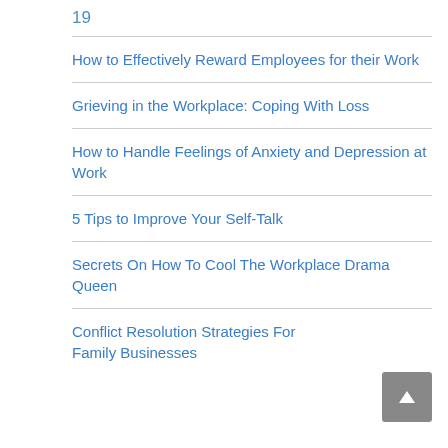19
How to Effectively Reward Employees for their Work
Grieving in the Workplace: Coping With Loss
How to Handle Feelings of Anxiety and Depression at Work
5 Tips to Improve Your Self-Talk
Secrets On How To Cool The Workplace Drama Queen
Conflict Resolution Strategies For Family Businesses